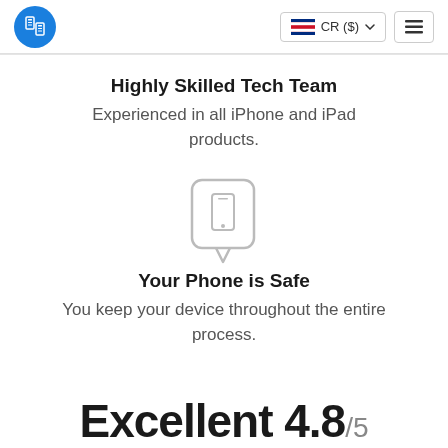[Figure (screenshot): Navigation bar with blue logo circle (SIM card icon), CR ($) country selector with Costa Rica flag, and hamburger menu button]
Highly Skilled Tech Team
Experienced in all iPhone and iPad products.
[Figure (illustration): Gray phone/shield icon - a rounded rectangle with a smartphone inside and a speech bubble tail pointing downward]
Your Phone is Safe
You keep your device throughout the entire process.
Excellent 4.8